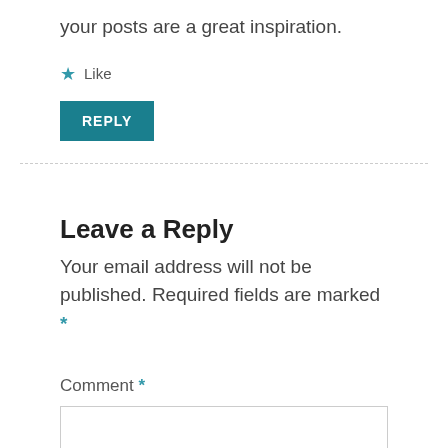your posts are a great inspiration.
★ Like
REPLY
Leave a Reply
Your email address will not be published. Required fields are marked *
Comment *